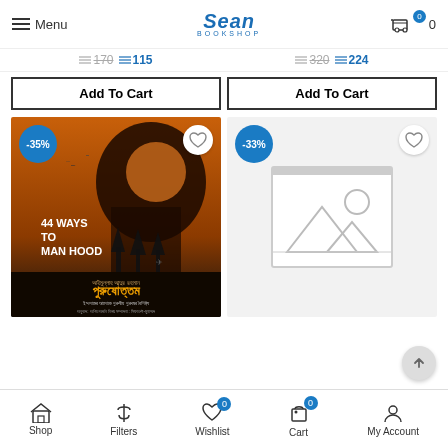Menu | Sean Bookshop | Cart 0
170 115 | 320 224
Add To Cart | Add To Cart
[Figure (photo): Book product card with -35% badge: '44 Ways to Man Hood' book cover showing silhouette of a man's head with trees and birds, Bengali title text. Wishlist heart button.]
[Figure (photo): Book product card with -33% badge: placeholder image (no book image available). Wishlist heart button.]
Shop | Filters | Wishlist 0 | Cart 0 | My Account